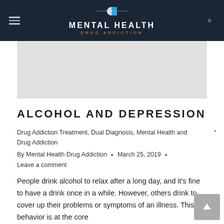MENTAL HEALTH DRUG ADDICTION
[Figure (photo): Gray placeholder image for article header photo]
ALCOHOL AND DEPRESSION
Drug Addiction Treatment, Dual Diagnosis, Mental Health and Drug Addiction
By Mental Health Drug Addiction • March 25, 2019 • Leave a comment
People drink alcohol to relax after a long day, and it's fine to have a drink once in a while. However, others drink to cover up their problems or symptoms of an illness. This behavior is at the core